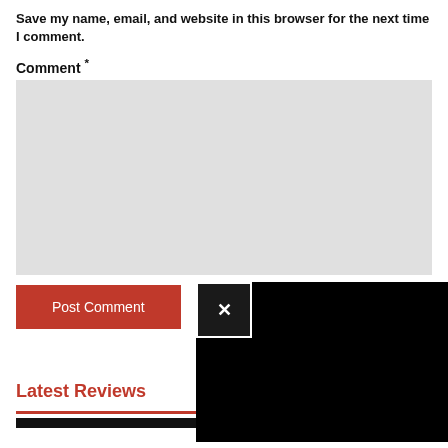Save my name, email, and website in this browser for the next time I comment.
Comment *
[Figure (screenshot): Gray comment textarea input field]
[Figure (screenshot): Popup overlay: black rectangle with white X close button in top-left corner]
Post Comment
Latest Reviews
View all